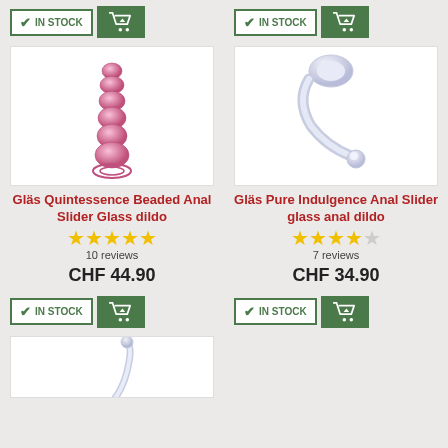[Figure (screenshot): IN STOCK button with green checkmark and green cart button - top left]
[Figure (screenshot): IN STOCK button with green checkmark and green cart button - top right]
[Figure (photo): Gläs Quintessence Beaded Anal Slider Glass dildo - pink beaded glass product]
[Figure (photo): Gläs Pure Indulgence Anal Slider glass anal dildo - clear curved glass product]
Gläs Quintessence Beaded Anal Slider Glass dildo
Gläs Pure Indulgence Anal Slider glass anal dildo
★★★★★ 10 reviews
★★★★☆ 7 reviews
CHF 44.90
CHF 34.90
[Figure (screenshot): IN STOCK button with green checkmark and green cart button - bottom left]
[Figure (screenshot): IN STOCK button with green checkmark and green cart button - bottom right]
[Figure (photo): Partial photo of clear curved glass product - bottom left]
[Figure (screenshot): Social sharing bar with Facebook, Twitter, Pinterest, WhatsApp, SMS, Email icons]